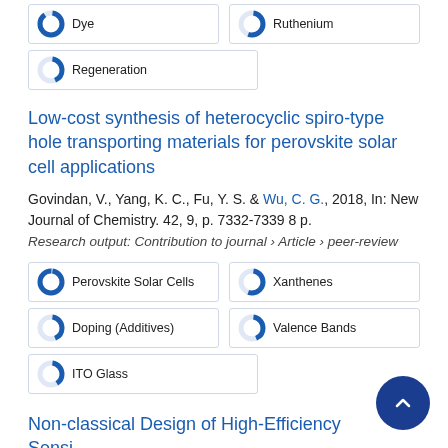Dye
Ruthenium
Regeneration
Low-cost synthesis of heterocyclic spiro-type hole transporting materials for perovskite solar cell applications
Govindan, V., Yang, K. C., Fu, Y. S. & Wu, C. G., 2018, In: New Journal of Chemistry. 42, 9, p. 7332-7339 8 p.
Research output: Contribution to journal › Article › peer-review
Perovskite Solar Cells
Xanthenes
Doping (Additives)
Valence Bands
ITO Glass
Non-classical Design of High-Efficiency Sensitizers for Dye-Sensitized Solar Cells
Nguyen, T. D. & Wu, C. G., May 2018, In: Journal of the Chinese